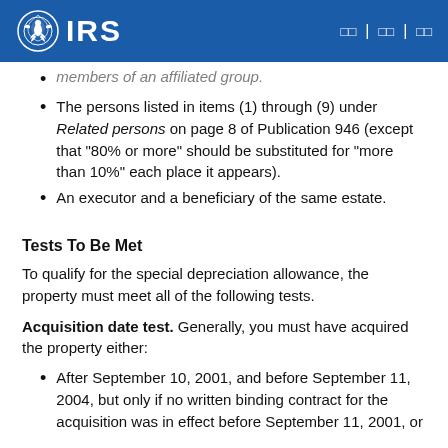IRS | □□ | □□ | □□
members of an affiliated group. (partial/clipped)
The persons listed in items (1) through (9) under Related persons on page 8 of Publication 946 (except that "80% or more" should be substituted for "more than 10%" each place it appears).
An executor and a beneficiary of the same estate.
Tests To Be Met
To qualify for the special depreciation allowance, the property must meet all of the following tests.
Acquisition date test. Generally, you must have acquired the property either:
After September 10, 2001, and before September 11, 2004, but only if no written binding contract for the acquisition was in effect before September 11, 2001, or